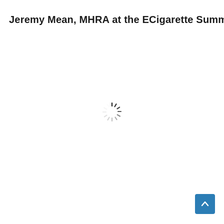Jeremy Mean, MHRA at the ECigarette Summit
[Figure (other): Loading spinner animation indicator centered on the page]
[Figure (other): Blue scroll-to-top button with upward chevron arrow, positioned bottom-right corner]